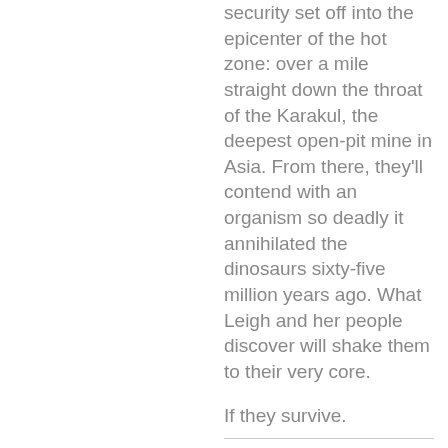security set off into the epicenter of the hot zone: over a mile straight down the throat of the Karakul, the deepest open-pit mine in Asia. From there, they'll contend with an organism so deadly it annihilated the dinosaurs sixty-five million years ago. What Leigh and her people discover will shake them to their very core.
If they survive.
$0.00